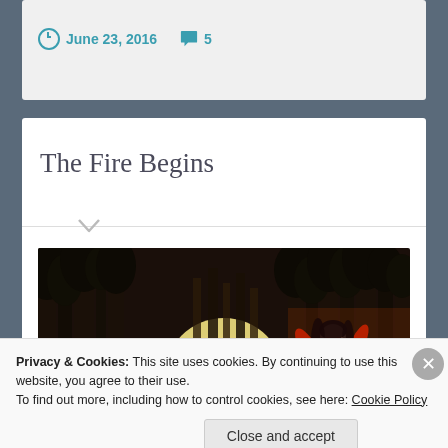June 23, 2016   5
The Fire Begins
[Figure (photo): A woman in a red outfit standing in a dark forest with bright orange fire glowing behind trees]
Privacy & Cookies: This site uses cookies. By continuing to use this website, you agree to their use.
To find out more, including how to control cookies, see here: Cookie Policy
Close and accept